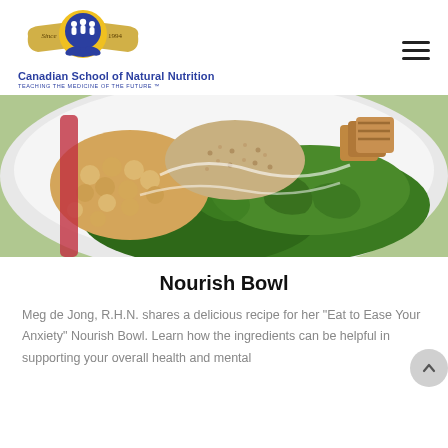[Figure (logo): Canadian School of Natural Nutrition logo with circular emblem showing three figures, gold banner with 'Since 1994', blue and gold design, with org name and tagline below]
[Figure (photo): Close-up overhead photo of a nourish bowl containing chickpeas, quinoa, kale, and roasted tofu cubes in a white bowl]
Nourish Bowl
Meg de Jong, R.H.N. shares a delicious recipe for her “Eat to Ease Your Anxiety” Nourish Bowl. Learn how the ingredients can be helpful in supporting your overall health and mental